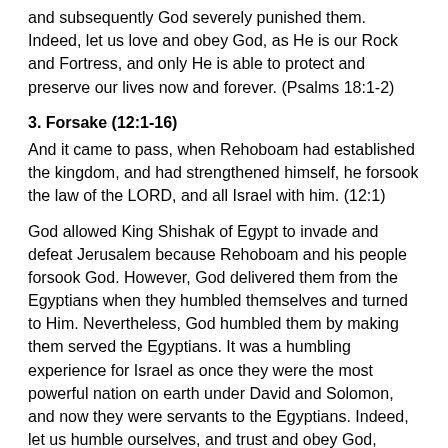and subsequently God severely punished them. Indeed, let us love and obey God, as He is our Rock and Fortress, and only He is able to protect and preserve our lives now and forever. (Psalms 18:1-2)
3. Forsake (12:1-16)
And it came to pass, when Rehoboam had established the kingdom, and had strengthened himself, he forsook the law of the LORD, and all Israel with him. (12:1)
God allowed King Shishak of Egypt to invade and defeat Jerusalem because Rehoboam and his people forsook God. However, God delivered them from the Egyptians when they humbled themselves and turned to Him. Nevertheless, God humbled them by making them served the Egyptians. It was a humbling experience for Israel as once they were the most powerful nation on earth under David and Solomon, and now they were servants to the Egyptians. Indeed, let us humble ourselves, and trust and obey God, knowing that He is our Helper and Deliverer, and He shall never leave nor forsake us.  (Hebrews 13:1-6)
Prayer of the Day: